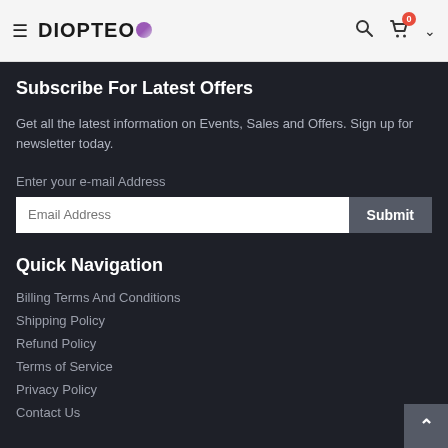DIOPTEO — navigation header with hamburger menu, search icon, cart icon with badge 0
Subscribe For Latest Offers
Get all the latest information on Events, Sales and Offers. Sign up for newsletter today.
Enter your e-mail Address
Email Address [input] Submit [button]
Quick Navigation
Billing Terms And Conditions
Shipping Policy
Refund Policy
Terms of Service
Privacy Policy
Contact Us